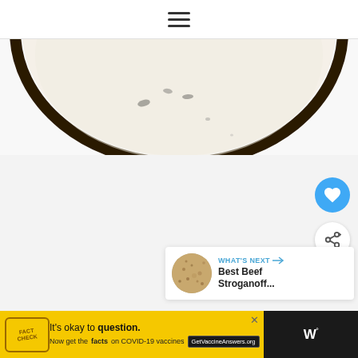[Figure (screenshot): Hamburger menu icon (three horizontal lines) centered at top of page on white background with bottom border]
[Figure (photo): Bottom half of a round plate or bowl with dark rim containing a white/cream colored food with dark seeds, partially cropped at top of frame]
[Figure (screenshot): Gray section with floating action buttons: blue heart/favorite button and white share button (with share icon), and a 'What's Next' card showing a thumbnail of beef stroganoff and text 'WHAT'S NEXT → Best Beef Stroganoff...']
[Figure (screenshot): Advertisement banner on dark background: yellow ad box with stamp graphic reading 'It's okay to question. Now get the facts on COVID-19 vaccines GetVaccineAnswers.org' with close X button, and WeatherBug logo on right]